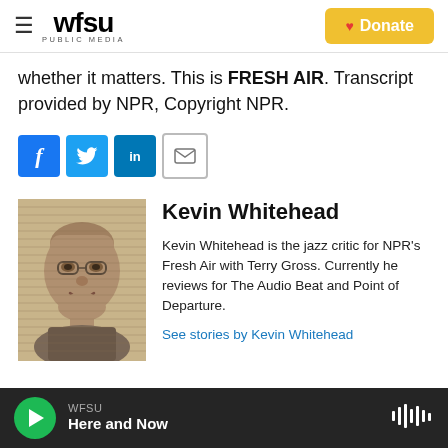WFSU PUBLIC MEDIA — Donate
whether it matters. This is FRESH AIR. Transcript provided by NPR, Copyright NPR.
[Figure (other): Social share buttons: Facebook, Twitter, LinkedIn, Email]
[Figure (photo): Sepia-toned portrait photo of Kevin Whitehead]
Kevin Whitehead
Kevin Whitehead is the jazz critic for NPR's Fresh Air with Terry Gross. Currently he reviews for The Audio Beat and Point of Departure.
See stories by Kevin Whitehead
WFSU — Here and Now (audio player bar)